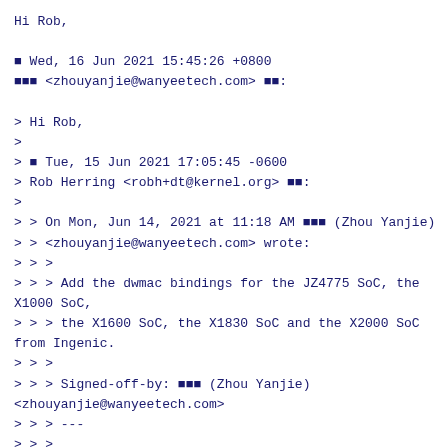Hi Rob,

■ Wed, 16 Jun 2021 15:45:26 +0800
■■■ <zhouyanjie@wanyeetech.com> ■■:

> Hi Rob,
>
> ■ Tue, 15 Jun 2021 17:05:45 -0600
> Rob Herring <robh+dt@kernel.org> ■■:
>
> > On Mon, Jun 14, 2021 at 11:18 AM ■■■ (Zhou Yanjie)
> > <zhouyanjie@wanyeetech.com> wrote:
> > >
> > > Add the dwmac bindings for the JZ4775 SoC, the X1000 SoC,
> > > the X1600 SoC, the X1830 SoC and the X2000 SoC from Ingenic.
> > >
> > > Signed-off-by: ■■■ (Zhou Yanjie) <zhouyanjie@wanyeetech.com>
> > > ---
> > >
> > > Notes:
> > >       v1->v2:
> > >       No change.
> > >
> > >       v2->v3:
> > >       Add "ingenic,mac.yaml" for Ingenic SoCs.
> > >